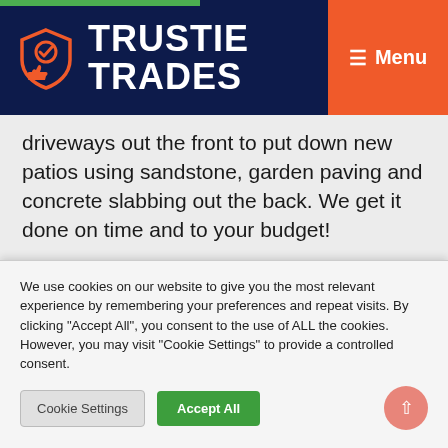TRUSTIE TRADES | Menu
driveways out the front to put down new patios using sandstone, garden paving and concrete slabbing out the back. We get it done on time and to your budget!
Call Select Paving in Moore Avenue, Newbridge, Ireland, on 045 832875 to get a free estimate for a tarmac driveway, new patio or block paving. We
We use cookies on our website to give you the most relevant experience by remembering your preferences and repeat visits. By clicking "Accept All", you consent to the use of ALL the cookies. However, you may visit "Cookie Settings" to provide a controlled consent.